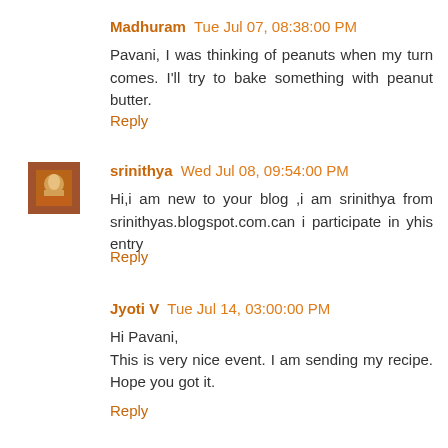Madhuram Tue Jul 07, 08:38:00 PM
Pavani, I was thinking of peanuts when my turn comes. I'll try to bake something with peanut butter.
Reply
[Figure (photo): Small avatar thumbnail showing a temple or deity image]
srinithya Wed Jul 08, 09:54:00 PM
Hi,i am new to your blog ,i am srinithya from srinithyas.blogspot.com.can i participate in yhis entry
Reply
Jyoti V Tue Jul 14, 03:00:00 PM
Hi Pavani,
This is very nice event. I am sending my recipe. Hope you got it.
Reply